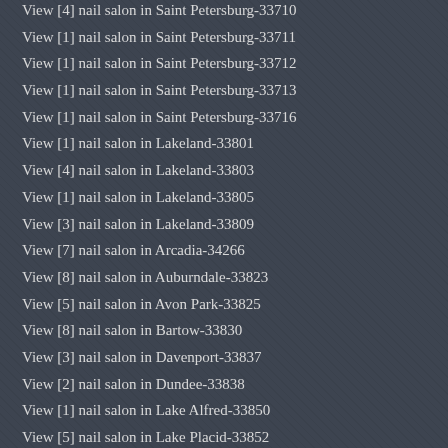View [4] nail salon in Saint Petersburg-33710
View [1] nail salon in Saint Petersburg-33711
View [1] nail salon in Saint Petersburg-33712
View [1] nail salon in Saint Petersburg-33713
View [1] nail salon in Saint Petersburg-33716
View [1] nail salon in Lakeland-33801
View [4] nail salon in Lakeland-33803
View [1] nail salon in Lakeland-33805
View [3] nail salon in Lakeland-33809
View [7] nail salon in Arcadia-34266
View [8] nail salon in Auburndale-33823
View [5] nail salon in Avon Park-33825
View [8] nail salon in Bartow-33830
View [3] nail salon in Davenport-33837
View [2] nail salon in Dundee-33838
View [1] nail salon in Lake Alfred-33850
View [5] nail salon in Lake Placid-33852
View [4] nail salon in Lake Wales-33853